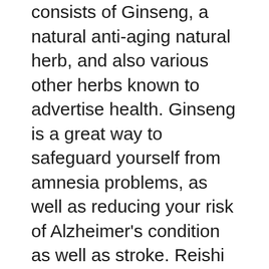consists of Ginseng, a natural anti-aging natural herb, and also various other herbs known to advertise health. Ginseng is a great way to safeguard yourself from amnesia problems, as well as reducing your risk of Alzheimer's condition as well as stroke. Reishi mushroom is an additional prominent active ingredient, and it can improve mind functions and increase brain energy. The formula in Pure Neuro was made by an specialist specialist, Dr. Anthony Capasso.
Lean1 Neuro
A testimonial of the Lean1 Neuro supplement is available online. It declares to integrate 27 neuronutrients for enhanced brain wellness. Its components may improve your memory,